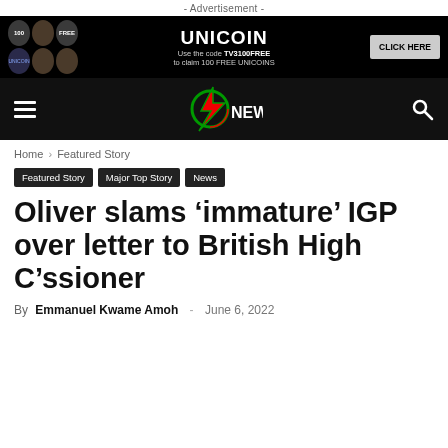- Advertisement -
[Figure (other): UNICOIN advertisement banner: black background with circular icons on the left, text 'UNICOIN Use the code TV3100FREE to claim 100 FREE UNICOINS' and a 'CLICK HERE' button on the right]
[Figure (other): TV3 News website navigation bar with hamburger menu, TV3 News logo (lightning bolt with Ghana flag colors), and search icon on black background]
Home › Featured Story
Featured Story
Major Top Story
News
Oliver slams 'immature' IGP over letter to British High C'ssioner
By Emmanuel Kwame Amoh - June 6, 2022